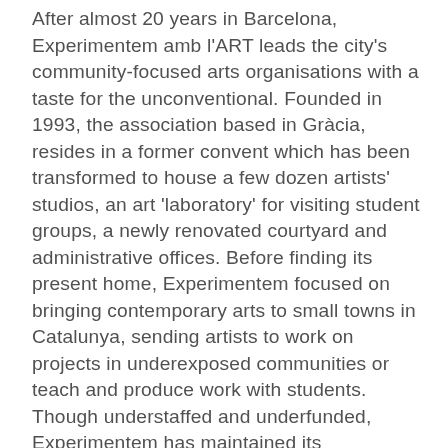After almost 20 years in Barcelona, Experimentem amb l'ART leads the city's community-focused arts organisations with a taste for the unconventional. Founded in 1993, the association based in Gràcia, resides in a former convent which has been transformed to house a few dozen artists' studios, an art 'laboratory' for visiting student groups, a newly renovated courtyard and administrative offices. Before finding its present home, Experimentem focused on bringing contemporary arts to small towns in Catalunya, sending artists to work on projects in underexposed communities or teach and produce work with students. Though understaffed and underfunded, Experimentem has maintained its educational vision and now includes programming that engages with their local neighbourhood. They want to activate the local audience through creative events and collaborations with other Gràcia arts organisations.